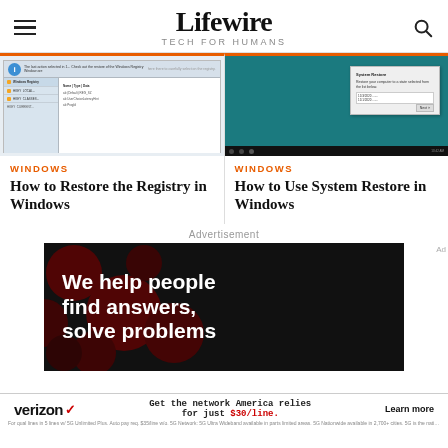Lifewire — TECH FOR HUMANS
[Figure (screenshot): Screenshot of Windows Registry restore dialog]
WINDOWS
How to Restore the Registry in Windows
[Figure (screenshot): Screenshot of Windows System Restore dialog on teal desktop]
WINDOWS
How to Use System Restore in Windows
Advertisement
[Figure (infographic): Dark advertisement with text: We help people find answers, solve problems]
[Figure (infographic): Verizon banner ad: Get the network America relies for just $30/line. Learn more.]